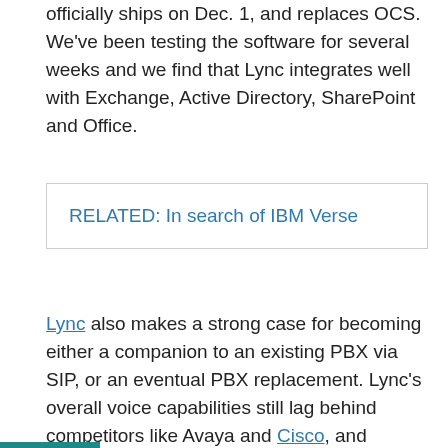officially ships on Dec. 1, and replaces OCS. We've been testing the software for several weeks and we find that Lync integrates well with Exchange, Active Directory, SharePoint and Office.
RELATED: In search of IBM Verse
Lync also makes a strong case for becoming either a companion to an existing PBX via SIP, or an eventual PBX replacement. Lync's overall voice capabilities still lag behind competitors like Avaya and Cisco, and enterprises aren't likely to rip out their existing PBXs, but companies planning ahead for their next voice upgrade should give Lync a look.